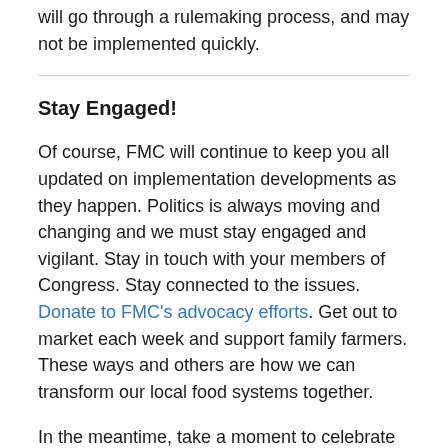will go through a rulemaking process, and may not be implemented quickly.
Stay Engaged!
Of course, FMC will continue to keep you all updated on implementation developments as they happen. Politics is always moving and changing and we must stay engaged and vigilant. Stay in touch with your members of Congress. Stay connected to the issues. Donate to FMC's advocacy efforts. Get out to market each week and support family farmers. These ways and others are how we can transform our local food systems together.
In the meantime, take a moment to celebrate this victory for local food and farmers markets – you deserve it!